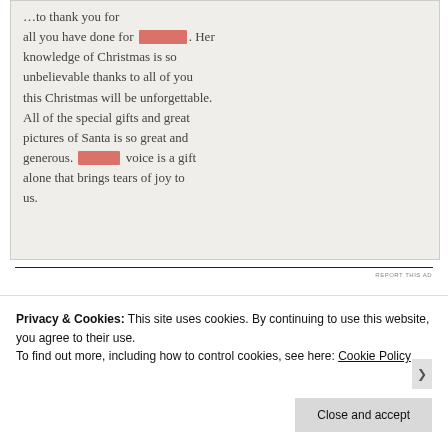[Figure (photo): Photograph of handwritten letter text on white paper with two redacted (pink/salmon colored rectangles) sections. The visible text reads: '...to thank you for all you have done for [REDACTED]. Her knowledge of Christmas is so unbelievable thanks to all of you this Christmas will be unforgettable. All of the special gifts and great pictures of Santa is so great and generous. [REDACTED] voice is a gift alone that brings tears of joy to us.']
REPORT THIS AD
Privacy & Cookies: This site uses cookies. By continuing to use this website, you agree to their use. To find out more, including how to control cookies, see here: Cookie Policy
Close and accept